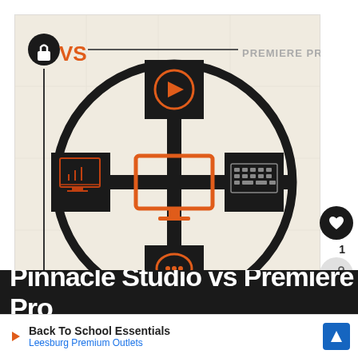[Figure (infographic): Comparison infographic: Pinnacle Studio vs Premiere Pro. A large circle with cross dividers and four icon boxes at top, left, right, and bottom positions. Center shows an orange monitor icon. Top box has a play button icon, left box has a computer/presentation icon, right box has a keyboard icon, bottom box has a speech bubble icon. 'VS' badge in top-left with orange text and lock icon. 'PREMIERE PRO' label top-right. 'PINNACLE STUDIO' label bottom-left. Vertical and horizontal lines form a crosshair layout.]
Pinnacle Studio vs Premiere Pro
Back To School Essentials
Leesburg Premium Outlets